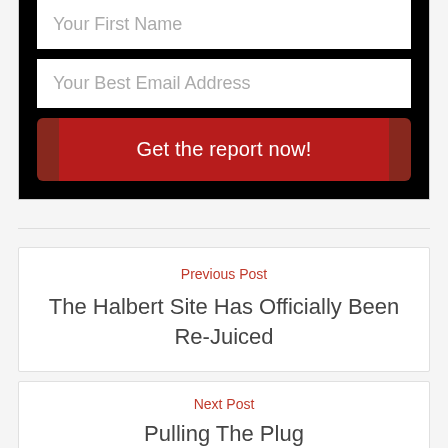[Figure (screenshot): Web form with 'Your First Name' text input field, 'Your Best Email Address' text input field, and a dark red 'Get the report now!' submit button, all on a black background.]
Previous Post
The Halbert Site Has Officially Been Re-Juiced
Next Post
Pulling The Plug